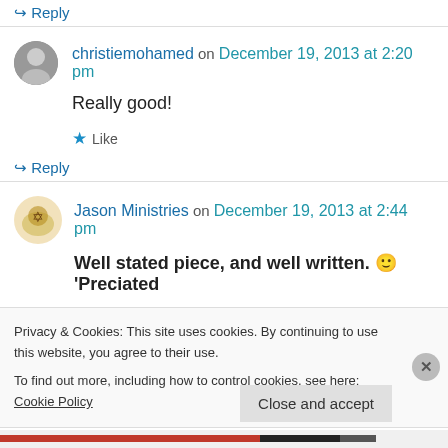↪ Reply
christiemohamed on December 19, 2013 at 2:20 pm
Really good!
★ Like
↪ Reply
Jason Ministries on December 19, 2013 at 2:44 pm
Well stated piece, and well written. 🙂 'Preciated
Privacy & Cookies: This site uses cookies. By continuing to use this website, you agree to their use. To find out more, including how to control cookies, see here: Cookie Policy
Close and accept